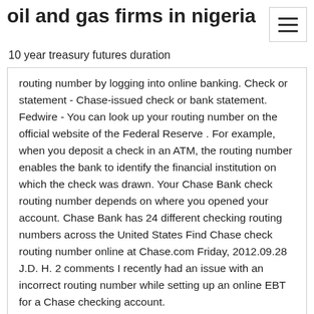oil and gas firms in nigeria
10 year treasury futures duration
routing number by logging into online banking. Check or statement - Chase-issued check or bank statement. Fedwire - You can look up your routing number on the official website of the Federal Reserve . For example, when you deposit a check in an ATM, the routing number enables the bank to identify the financial institution on which the check was drawn. Your Chase Bank check routing number depends on where you opened your account. Chase Bank has 24 different checking routing numbers across the United States Find Chase check routing number online at Chase.com Friday, 2012.09.28 J.D. H. 2 comments I recently had an issue with an incorrect routing number while setting up an online EBT for a Chase checking account.
2 Jun 2019 You can check your online account page for the bank routing number. Different